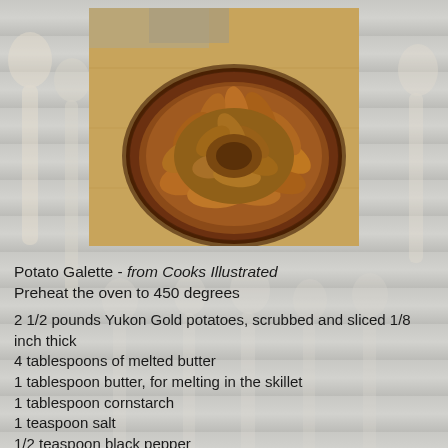[Figure (photo): Photo of a Potato Galette — thinly sliced potatoes arranged in a spiral/rose pattern, golden-brown and crispy, sitting on a wooden cutting board with a knife visible in the background.]
Potato Galette - from Cooks Illustrated
Preheat the oven to 450 degrees
2 1/2 pounds Yukon Gold potatoes, scrubbed and sliced 1/8 inch thick
4 tablespoons of melted butter
1 tablespoon butter, for melting in the skillet
1 tablespoon cornstarch
1 teaspoon salt
1/2 teaspoon black pepper
1 1/2 teaspoons chopped fresh rosemary